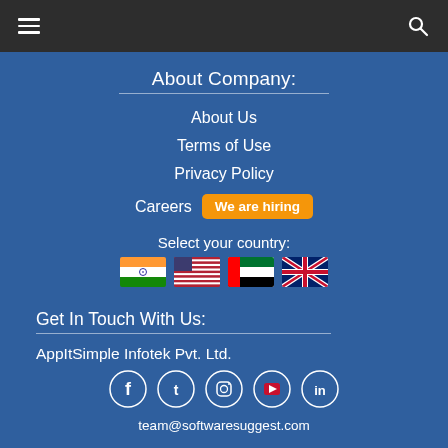Navigation header with hamburger menu and search icon
About Company:
About Us
Terms of Use
Privacy Policy
Careers  We are hiring
Select your country:
[Figure (illustration): Four country flags: India, USA, UAE, UK]
Get In Touch With Us:
AppItSimple Infotek Pvt. Ltd.
[Figure (illustration): Social media icons: Facebook, Twitter, Instagram, YouTube, LinkedIn]
team@softwaresuggest.com